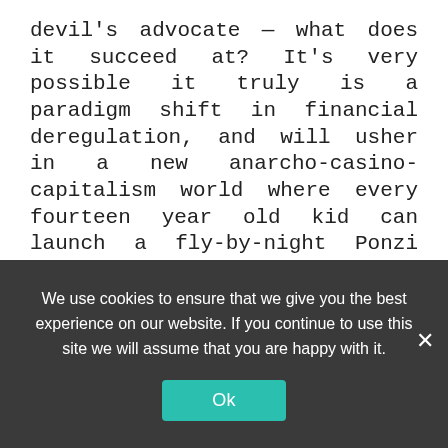devil's advocate — what does it succeed at? It's very possible it truly is a paradigm shift in financial deregulation, and will usher in a new anarcho-casino-capitalism world where every fourteen year old kid can launch a fly-by-night Ponzi scheme and pump it on social media all from the comfort and anonymity of their parent's basement. A hustlers' paradise with a 24/7 non-stop casino built on a Cambrian explosion of slot machines, with each machine grown out of a different facet of human culture whose likeness has been co-opted to seduce you into gambling more. It's the apotheosis of capitalism where the market now provides a financial token game for every meme, every celebrity, every political movement, and every bit of art and culture — with each tribe competing against each other in a
We use cookies to ensure that we give you the best experience on our website. If you continue to use this site we will assume that you are happy with it.